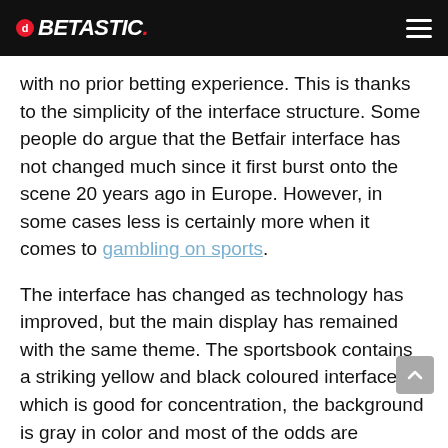BETASTIC.
with no prior betting experience. This is thanks to the simplicity of the interface structure. Some people do argue that the Betfair interface has not changed much since it first burst onto the scene 20 years ago in Europe. However, in some cases less is certainly more when it comes to gambling on sports.
The interface has changed as technology has improved, but the main display has remained with the same theme. The sportsbook contains a striking yellow and black coloured interface, which is good for concentration, the background is gray in color and most of the odds are highlighted in a rich blue color, which is clear and appealing.
Further into this page we will show you all the exchange has to offer when it comes to the interface and the huge